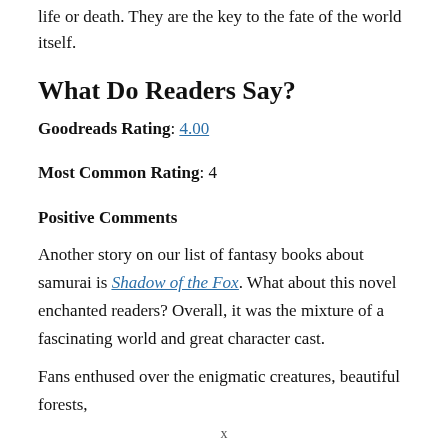life or death. They are the key to the fate of the world itself.
What Do Readers Say?
Goodreads Rating: 4.00
Most Common Rating: 4
Positive Comments
Another story on our list of fantasy books about samurai is Shadow of the Fox. What about this novel enchanted readers? Overall, it was the mixture of a fascinating world and great character cast.
Fans enthused over the enigmatic creatures, beautiful forests,
x